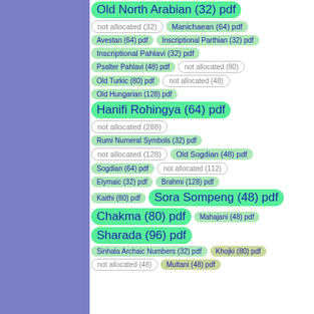[Figure (infographic): Purple sidebar on the left with Unicode block allocation chips on the right showing block names, sizes, and pdf links. Chips are color-coded: bright green for larger/notable blocks, light green for standard blocks, gray-outlined for unallocated regions, olive for some blocks.]